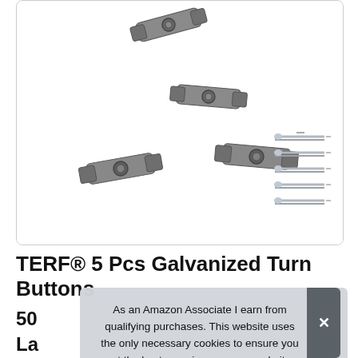[Figure (photo): Product photo showing four galvanized metal turn button clips/fasteners and five silver screws arranged on a white background inside a rounded rectangle border.]
TERF® 5 Pcs Galvanized Turn Buttons
50
La
Ra
Fixing Screw
As an Amazon Associate I earn from qualifying purchases. This website uses the only necessary cookies to ensure you get the best experience on our website. More information